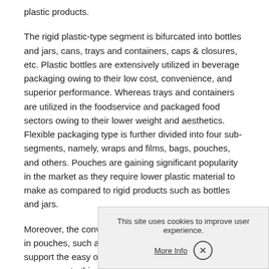plastic products.
The rigid plastic-type segment is bifurcated into bottles and jars, cans, trays and containers, caps & closures, etc. Plastic bottles are extensively utilized in beverage packaging owing to their low cost, convenience, and superior performance. Whereas trays and containers are utilized in the foodservice and packaged food sectors owing to their lower weight and aesthetics. Flexible packaging type is further divided into four sub-segments, namely, wraps and films, bags, pouches, and others. Pouches are gaining significant popularity in the market as they require lower plastic material to make as compared to rigid products such as bottles and jars.
Moreover, the convenience of multiple closure choices in pouches, such as a zipper, tear notch, and spout support the easy opening and closing... attracts consumers to this pa... demand for food on account of the increasing population